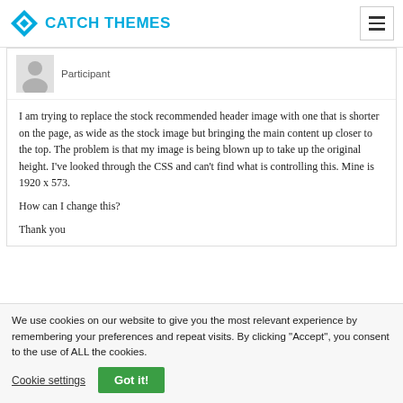CATCH THEMES
Participant
I am trying to replace the stock recommended header image with one that is shorter on the page, as wide as the stock image but bringing the main content up closer to the top. The problem is that my image is being blown up to take up the original height. I’ve looked through the CSS and can’t find what is controlling this. Mine is 1920 x 573.

How can I change this?

Thank you
We use cookies on our website to give you the most relevant experience by remembering your preferences and repeat visits. By clicking “Accept”, you consent to the use of ALL the cookies.
Cookie settings
Got it!